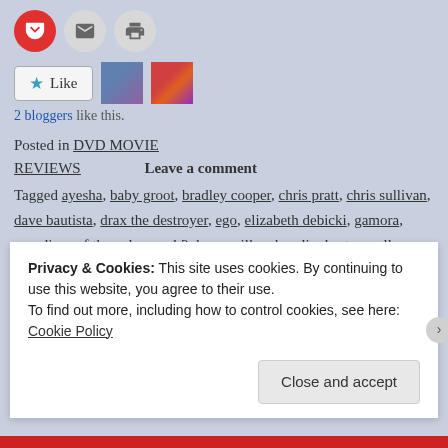[Figure (other): Three circular icon buttons: Pocket (red), email (grey), print (grey)]
[Figure (other): Like button with star icon, and two blogger avatar thumbnails]
2 bloggers like this.
Posted in DVD MOVIE REVIEWS   Leave a comment
Tagged ayesha, baby groot, bradley cooper, chris pratt, chris sullivan, dave bautista, drax the destroyer, ego, elizabeth debicki, gamora, guardians of the galaxy vol 2, karen gillan, kraglin, kurt russell, mantis, michael rooker, nebula, pet empath, peter quill, pom klementieff, ravager, rocket, sean gun, stakar ogord, star-lord, starhawk, sylvester stallone, taserface, vin diesel, yondu
Privacy & Cookies: This site uses cookies. By continuing to use this website, you agree to their use. To find out more, including how to control cookies, see here: Cookie Policy
Close and accept